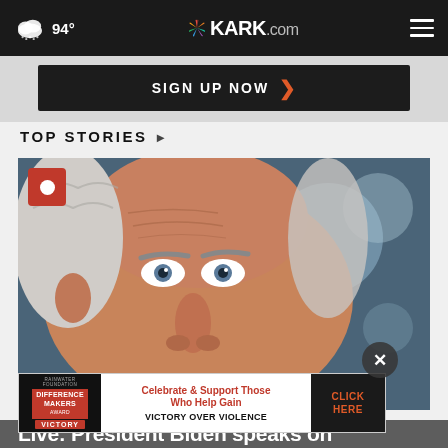94° KARK.com
SIGN UP NOW ›
TOP STORIES ›
[Figure (photo): Close-up photograph of an elderly man's face with white hair, furrowed brow, and blue eyes against a blurred dark blue bokeh background. Red square with white circle (live indicator) in top-left corner of image.]
[Figure (infographic): Advertisement banner: Rainwater Foundation Difference Makers Award Victory - Celebrate & Support Those Who Help Gain VICTORY OVER VIOLENCE - CLICK HERE button]
Live: President Biden speaks on